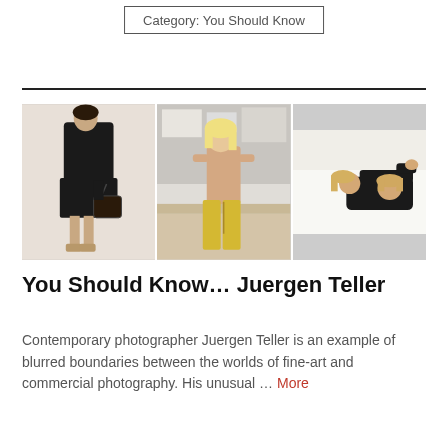Category: You Should Know
[Figure (photo): A composite of three fashion/art photographs by Juergen Teller: left shows a female model in black dress holding a handbag; center shows a blonde woman topless in yellow pants in a studio; right shows two people lying on a white surface.]
You Should Know… Juergen Teller
Contemporary photographer Juergen Teller is an example of blurred boundaries between the worlds of fine-art and commercial photography. His unusual … More